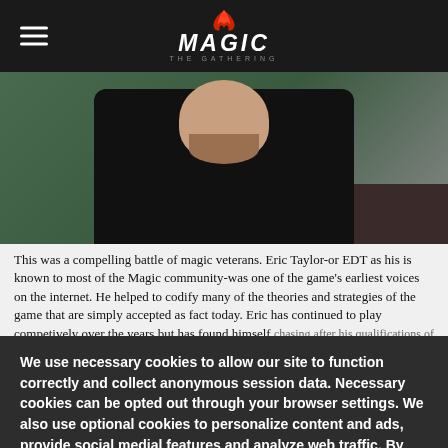Magic: The Gathering
[Figure (photo): Man in black t-shirt sitting at a table, appearing to be at a Magic: The Gathering event]
This was a compelling battle of magic veterans. Eric Taylor-or EDT as his is known to most of the Magic community-was one of the game's earliest voices on the internet. He helped to codify many of the theories and strategies of the game that are simply accepted as fact today. Eric has continued to play competively over the years but has found himself chasing after his qualifications of late. EDT was playing the explosive Twaddle Design deck
We use necessary cookies to allow our site to function correctly and collect anonymous session data. Necessary cookies can be opted out through your browser settings. We also use optional cookies to personalize content and ads, provide social medial features and analyze web traffic. By clicking “OK, I agree,” you consent to optional cookies.
(Learn more about cookies.)